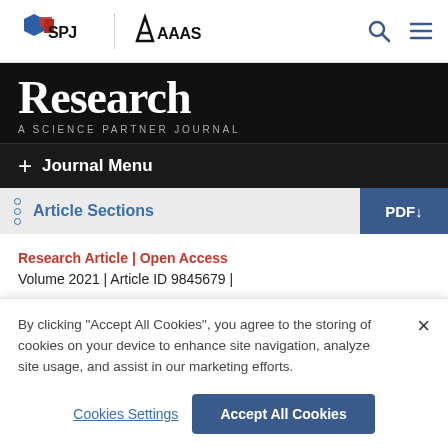SPJ | AAAS Research - A Science Partner Journal
Research
A SCIENCE PARTNER JOURNAL
+ Journal Menu
Article Sections
Research Article | Open Access
Volume 2021 | Article ID 9845679 |
By clicking "Accept All Cookies", you agree to the storing of cookies on your device to enhance site navigation, analyze site usage, and assist in our marketing efforts.
Cookies Settings   Accept All Cookies